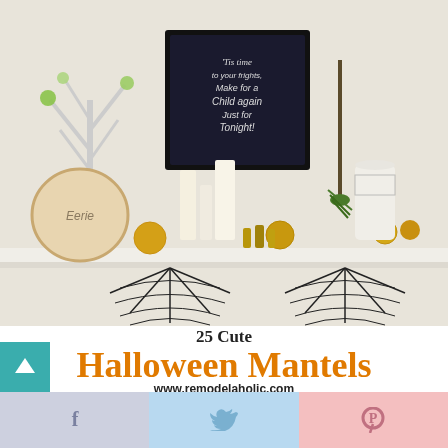[Figure (photo): Halloween mantel decoration scene with black spider web decorations, candles, chalkboard sign, gold accents, white tree, and pumpkins on a white mantel shelf]
25 Cute Halloween Mantels
www.remodelaholic.com
[Figure (photo): Two Halloween mantel photos side by side: left shows a mantel with Halloween lantern, owl painting, BOO stack, and HALLOWEEN banner bunting; right shows a mantel with round framed art plates, owl figurine, pumpkins, candles, and HALLOWEEN banner]
[Figure (infographic): Social sharing bar with Facebook (f), Twitter (bird), and Pinterest (P) buttons in lavender, light blue, and pink respectively]